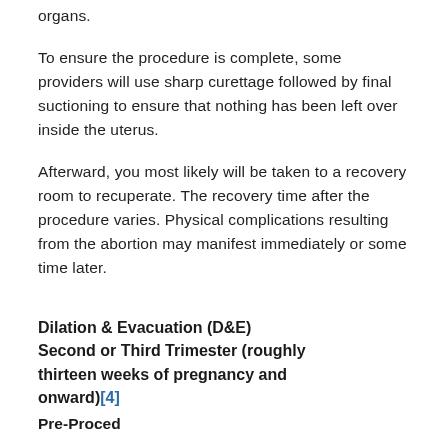organs.
To ensure the procedure is complete, some providers will use sharp curettage followed by final suctioning to ensure that nothing has been left over inside the uterus.
Afterward, you most likely will be taken to a recovery room to recuperate. The recovery time after the procedure varies. Physical complications resulting from the abortion may manifest immediately or some time later.
Dilation & Evacuation (D&E) Second or Third Trimester (roughly thirteen weeks of pregnancy and onward)[4]
Pre-Procedure